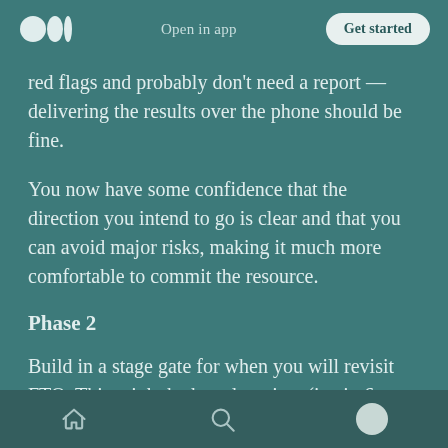Medium logo | Open in app | Get started
red flags and probably don’t need a report — delivering the results over the phone should be fine.
You now have some confidence that the direction you intend to go is clear and that you can avoid major risks, making it much more comfortable to commit the resource.
Phase 2
Build in a stage gate for when you will revisit FTO. This might be based on time (i.e. in 6
Home | Search | Profile